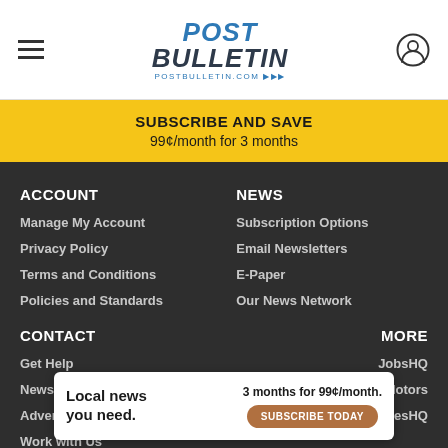POST BULLETIN — postbulletin.com
SUBSCRIBE AND SAVE
99¢/month for 3 months
ACCOUNT
Manage My Account
Privacy Policy
Terms and Conditions
Policies and Standards
NEWS
Subscription Options
Email Newsletters
E-Paper
Our News Network
CONTACT
Get Help
News
Advertising
Work with Us
MORE
JobsHQ
Motors
HomesHQ
Local news you need. 3 months for 99¢/month. SUBSCRIBE TODAY